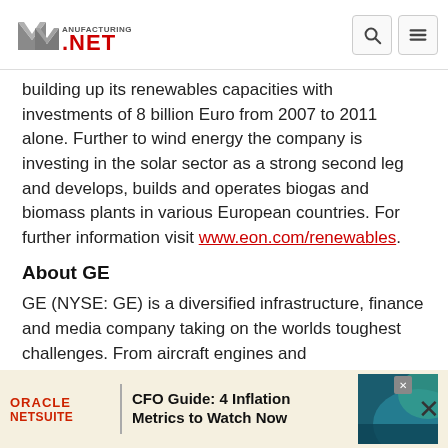Manufacturing.NET
building up its renewables capacities with investments of 8 billion Euro from 2007 to 2011 alone. Further to wind energy the company is investing in the solar sector as a strong second leg and develops, builds and operates biogas and biomass plants in various European countries. For further information visit www.eon.com/renewables.
About GE
GE (NYSE: GE) is a diversified infrastructure, finance and media company taking on the worlds toughest challenges. From aircraft engines and power solutions to financial services, health care solutions and television programming, GE operates
[Figure (other): Oracle NetSuite advertisement banner: CFO Guide: 4 Inflation Metrics to Watch Now]